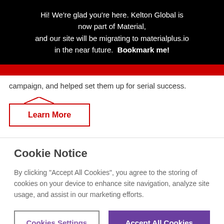Hi! We're glad you're here. Kelton Global is now part of Material, and our site will be migrating to materialplus.io in the near future. Bookmark me!
campaign, and helped set them up for serial success.
Learn More
Cookie Notice
By clicking “Accept All Cookies”, you agree to the storing of cookies on your device to enhance site navigation, analyze site usage, and assist in our marketing efforts.
Cookies Settings
Accept All Cookies